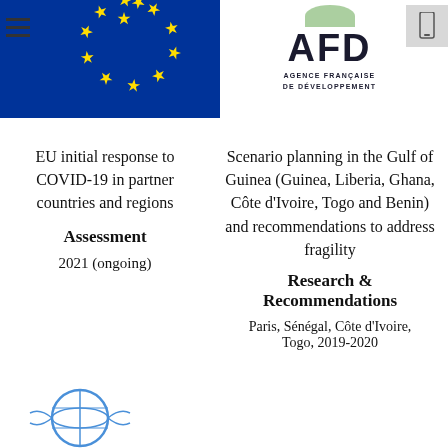[Figure (logo): European Union flag with blue background and circle of yellow stars]
[Figure (logo): AFD - Agence Française de Développement logo]
EU initial response to COVID-19 in partner countries and regions
Assessment
2021 (ongoing)
Scenario planning in the Gulf of Guinea (Guinea, Liberia, Ghana, Côte d'Ivoire, Togo and Benin) and recommendations to address fragility
Research & Recommendations
Paris, Sénégal, Côte d'Ivoire, Togo, 2019-2020
[Figure (logo): UN-like globe/world organization logo at bottom left]